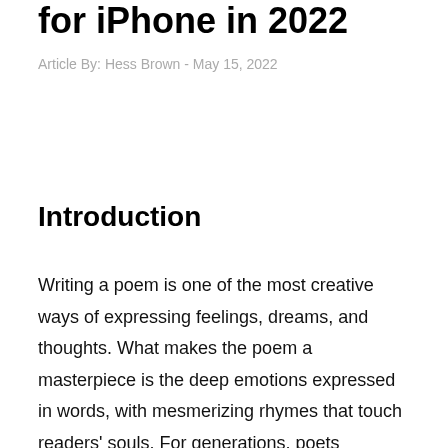for iPhone in 2022
Article By: Hess Brown - May 15, 2022
Introduction
Writing a poem is one of the most creative ways of expressing feelings, dreams, and thoughts. What makes the poem a masterpiece is the deep emotions expressed in words, with mesmerizing rhymes that touch readers' souls. For generations, poets scribbled papers searching for the right words for their timeless poetry works. Nevertheless